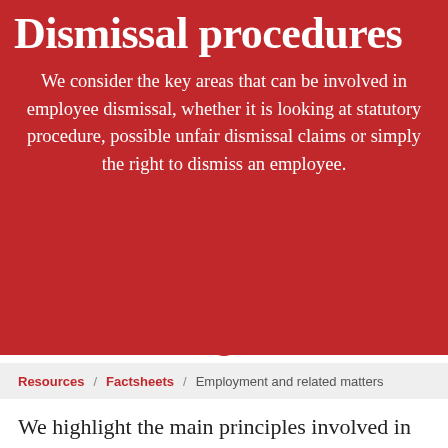Dismissal procedures
We consider the key areas that can be involved in employee dismissal, whether it is looking at statutory procedure, possible unfair dismissal claims or simply the right to dismiss an employee.
Resources / Factsheets / Employment and related matters
We highlight the main principles involved in the dismissal of employees including some common mistakes that employers make. If you are an employer in the Hampshire area we, at Butler & Co, can provide you with assistance or any additional information